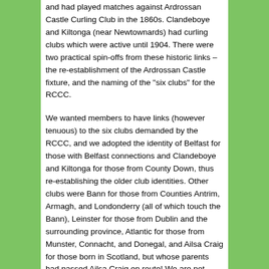and had played matches against Ardrossan Castle Curling Club in the 1860s. Clandeboye and Kiltonga (near Newtownards) had curling clubs which were active until 1904. There were two practical spin-offs from these historic links – the re-establishment of the Ardrossan Castle fixture, and the naming of the "six clubs" for the RCCC.
We wanted members to have links (however tenuous) to the six clubs demanded by the RCCC, and we adopted the identity of Belfast for those with Belfast connections and Clandeboye and Kiltonga for those from County Down, thus re-establishing the older club identities. Other clubs were Bann for those from Counties Antrim, Armagh, and Londonderry (all of which touch the Bann), Leinster for those from Dublin and the surrounding province, Atlantic for those from Munster, Connacht, and Donegal, and Ailsa Craig for those born in Scotland, but whose parents had passed Ailsa Craig en route! We are not quite sure where a Fermanagh curler would properly belong! We have occasionally competed under club identities at home, i.e., where we do hold identity for the RCCC.